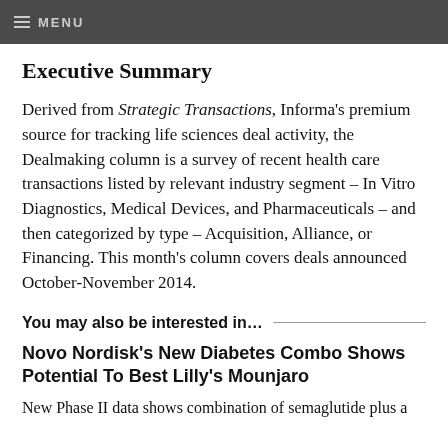≡ MENU
Executive Summary
Derived from Strategic Transactions, Informa's premium source for tracking life sciences deal activity, the Dealmaking column is a survey of recent health care transactions listed by relevant industry segment – In Vitro Diagnostics, Medical Devices, and Pharmaceuticals – and then categorized by type – Acquisition, Alliance, or Financing. This month's column covers deals announced October-November 2014.
You may also be interested in…
Novo Nordisk's New Diabetes Combo Shows Potential To Best Lilly's Mounjaro
New Phase II data shows combination of semaglutide plus a